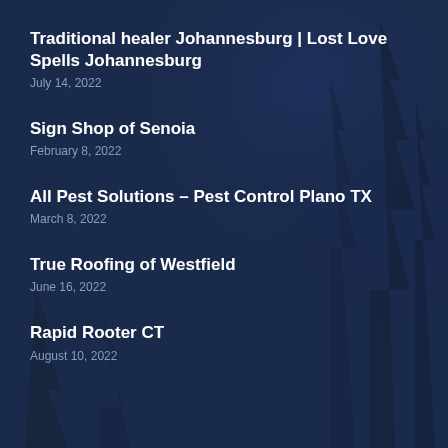Traditional healer Johannesburg | Lost Love Spells Johannesburg
July 14, 2022
Sign Shop of Senoia
February 8, 2022
All Pest Solutions – Pest Control Plano TX
March 8, 2022
True Roofing of Westfield
June 16, 2022
Rapid Rooter CT
August 10, 2022